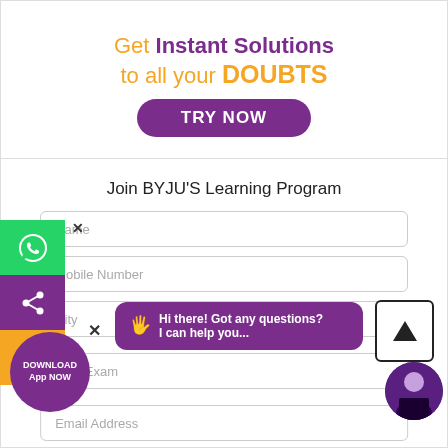[Figure (screenshot): Promotional banner: 'Get Instant Solutions to all your DOUBTS' with a purple TRY NOW button]
Join BYJU'S Learning Program
[Figure (screenshot): Web form with fields: Name, Mobile Number, City, Grade/Exam, Email Address. Left sidebar with WhatsApp, share, and phone icons. Chat bubble saying 'Hi there! Got any questions? I can help you...' Purple download app button and avatar in corners.]